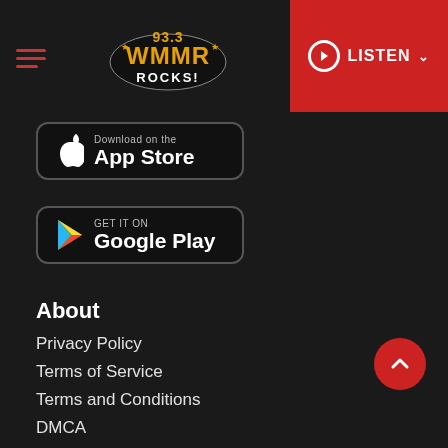[Figure (logo): 93.3 WMMR Rocks! radio station logo in gold/yellow and white text on dark background]
[Figure (screenshot): Download on the App Store button - black rounded rectangle badge with Apple logo]
[Figure (screenshot): Get it on Google Play button - black rounded rectangle badge with Google Play triangle logo]
About
Privacy Policy
Terms of Service
Terms and Conditions
DMCA
Sponsors